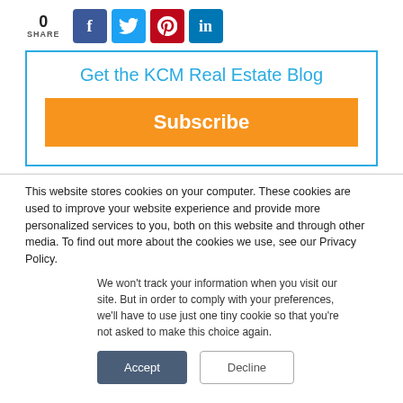[Figure (infographic): Social share bar showing 0 shares and buttons for Facebook, Twitter, Pinterest, and LinkedIn]
Get the KCM Real Estate Blog
Subscribe
This website stores cookies on your computer. These cookies are used to improve your website experience and provide more personalized services to you, both on this website and through other media. To find out more about the cookies we use, see our Privacy Policy.
We won't track your information when you visit our site. But in order to comply with your preferences, we'll have to use just one tiny cookie so that you're not asked to make this choice again.
Accept
Decline